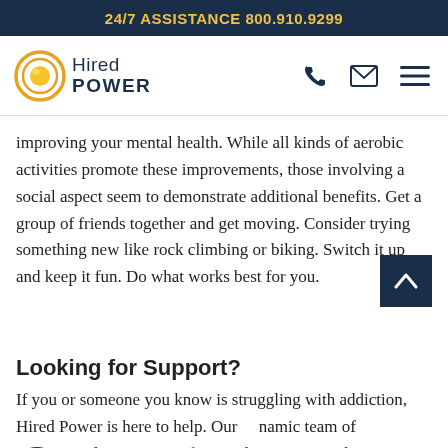24/7 ASSISTANCE 800.910.9299
[Figure (logo): Hired Power logo with orange/yellow circular icon and dark blue text reading 'Hired POWER', alongside phone, email, and menu icons]
improving your mental health. While all kinds of aerobic activities promote these improvements, those involving a social aspect seem to demonstrate additional benefits. Get a group of friends together and get moving. Consider trying something new like rock climbing or biking. Switch it up and keep it fun. Do what works best for you.
Looking for Support?
If you or someone you know is struggling with addiction, Hired Power is here to help. Our dynamic team of experienced recovery professionals is committed to giving you the